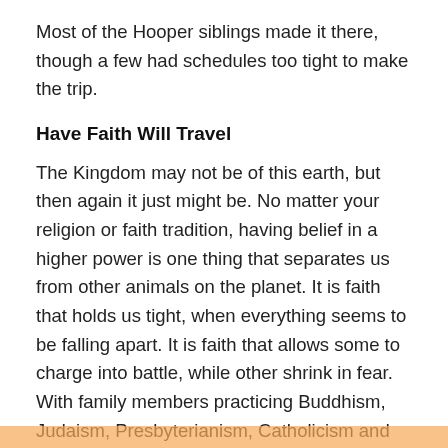Most of the Hooper siblings made it there, though a few had schedules too tight to make the trip.
Have Faith Will Travel
The Kingdom may not be of this earth, but then again it just might be. No matter your religion or faith tradition, having belief in a higher power is one thing that separates us from other animals on the planet. It is faith that holds us tight, when everything seems to be falling apart. It is faith that allows some to charge into battle, while other shrink in fear. With family members practicing Buddhism, Judaism, Presbyterianism, Catholicism and lots of other ism's, it matters little which ism they chose, as long as it is grounded in faith.  That belief system keeps us going and energized for the next faith challenge.
[Figure (other): Orange/amber colored bar at the bottom of the page]